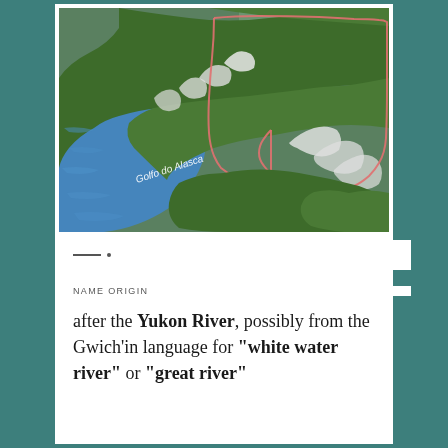[Figure (map): Satellite/aerial map showing Alaska and surrounding region including the Gulf of Alaska (labeled 'Golfo do Alasca'). A salmon/pink border outlines what appears to be the Yukon territory boundary. The map shows green forested terrain, snow-capped mountains, and the blue Gulf of Alaska waters.]
NAME ORIGIN
after the Yukon River, possibly from the Gwich'in language for "white water river" or "great river"